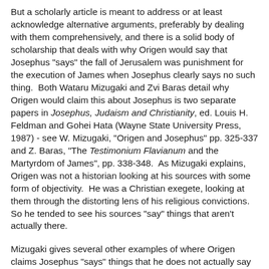But a scholarly article is meant to address or at least acknowledge alternative arguments, preferably by dealing with them comprehensively, and there is a solid body of scholarship that deals with why Origen would say that Josephus "says" the fall of Jerusalem was punishment for the execution of James when Josephus clearly says no such thing.  Both Wataru Mizugaki and Zvi Baras detail why Origen would claim this about Josephus is two separate papers in Josephus, Judaism and Christianity, ed. Louis H. Feldman and Gohei Hata (Wayne State University Press, 1987) - see W. Mizugaki, "Origen and Josephus" pp. 325-337 and Z. Baras, "The Testimonium Flavianum and the Martyrdom of James", pp. 338-348.  As Mizugaki explains, Origen was not a historian looking at his sources with some form of objectivity.  He was a Christian exegete, looking at them through the distorting lens of his religious convictions.  So he tended to see his sources "say" things that aren't actually there.
Mizugaki gives several other examples of where Origen claims Josephus "says" things that he does not actually say and even one example where Origen alters Josephus' text to